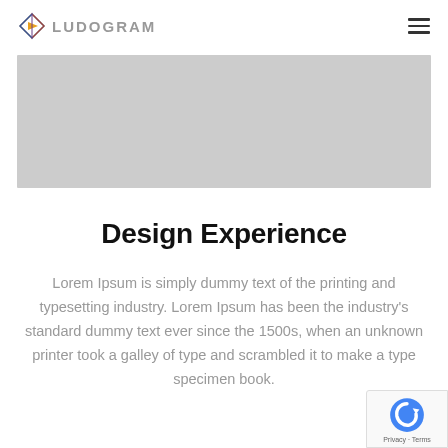LUDOGRAM
[Figure (photo): Gray image placeholder rectangle]
Design Experience
Lorem Ipsum is simply dummy text of the printing and typesetting industry. Lorem Ipsum has been the industry's standard dummy text ever since the 1500s, when an unknown printer took a galley of type and scrambled it to make a type specimen book.